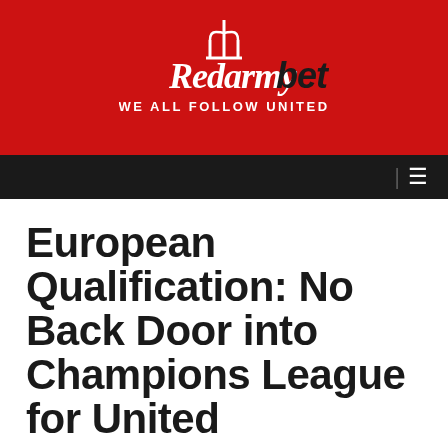[Figure (logo): RedArmyBet logo with devil trident icon and tagline 'WE ALL FOLLOW UNITED' on red background]
Navigation bar with hamburger menu icon
European Qualification: No Back Door into Champions League for United
Red Army Bet looks at the ins and outs of qualification for the Champions League next season and it doesn't look good for United.
30TH APRIL 2019 | MANCHESTER UNITED, CHAMPIONS